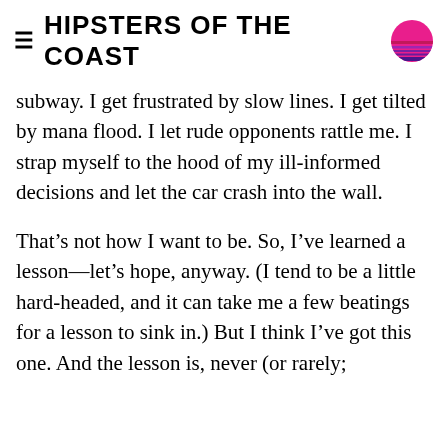HIPSTERS OF THE COAST
subway. I get frustrated by slow lines. I get tilted by mana flood. I let rude opponents rattle me. I strap myself to the hood of my ill-informed decisions and let the car crash into the wall.
That’s not how I want to be. So, I’ve learned a lesson—let’s hope, anyway. (I tend to be a little hard-headed, and it can take me a few beatings for a lesson to sink in.) But I think I’ve got this one. And the lesson is, never (or rarely; the next cl...